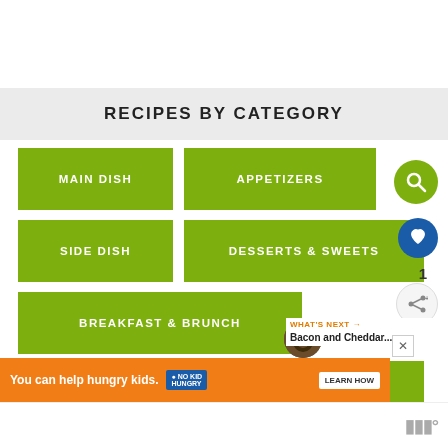RECIPES BY CATEGORY
MAIN DISH
APPETIZERS
SIDE DISH
DESSERTS & SWEETS
BREAKFAST & BRUNCH
HOMEMADE PANTRY
SNACKS
SANDWICHES & BURGERS
WHAT'S NEXT → Bacon and Cheddar...
You can help hungry kids. NO KID HUNGRY LEARN HOW